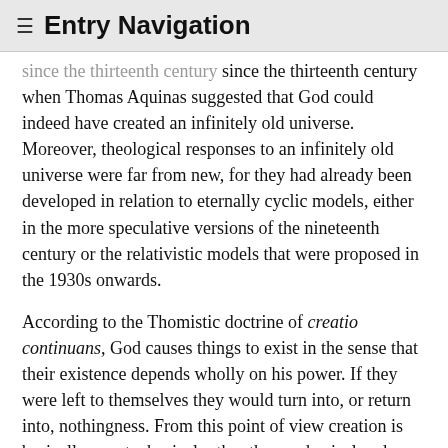≡ Entry Navigation
since the thirteenth century when Thomas Aquinas suggested that God could indeed have created an infinitely old universe. Moreover, theological responses to an infinitely old universe were far from new, for they had already been developed in relation to eternally cyclic models, either in the more speculative versions of the nineteenth century or the relativistic models that were proposed in the 1930s onwards.
According to the Thomistic doctrine of creatio continuans, God causes things to exist in the sense that their existence depends wholly on his power. If they were left to themselves they would turn into, or return into, nothingness. From this point of view creation is basically a metaphysical rather than a physical and temporal concept, and an eternal yet created universe is perfectly possible. Interestingly, the leading steady-state physicist William McCrea was also a devout Christian who argued that cosmology, in whatever form, must necessarily include the postulation of a divine creator. As theologians in the 1950s, both Protestants and Catholics, were quick